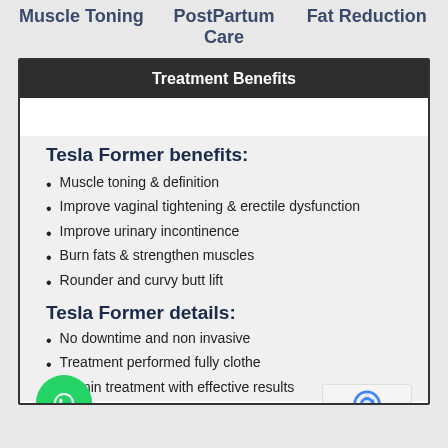Muscle Toning   PostPartum Care   Fat Reduction
Treatment Benefits
Tesla Former benefits:
Muscle toning & definition
Improve vaginal tightening & erectile dysfunction
Improve urinary incontinence
Burn fats & strengthen muscles
Rounder and curvy butt lift
Tesla Former details:
No downtime and non invasive
Treatment performed fully clothe
30 min treatment with effective results